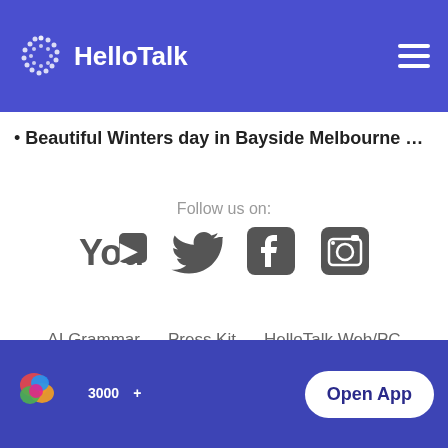HelloTalk
Beautiful Winters day in Bayside Melbourne …
Follow us on:
[Figure (logo): Social media icons: YouTube, Twitter, Facebook, Instagram]
AI Grammar
Press Kit
HelloTalk Web/PC
Language Partners
Jobs
Blog
About
3000　+　　　　　　　　　　Open App